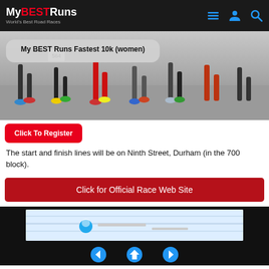My BEST Runs — World's Best Road Races
[Figure (screenshot): Hero image of runners' legs during a road race, with overlay title box reading 'My BEST Runs Fastest 10k (women)']
Click To Register
The start and finish lines will be on Ninth Street, Durham (in the 700 block).
Click for Official Race Web Site
[Figure (screenshot): Map or embedded content area showing partial map with a blue location marker icon, set against a black background border]
Navigation icons: back arrow, home, forward arrow